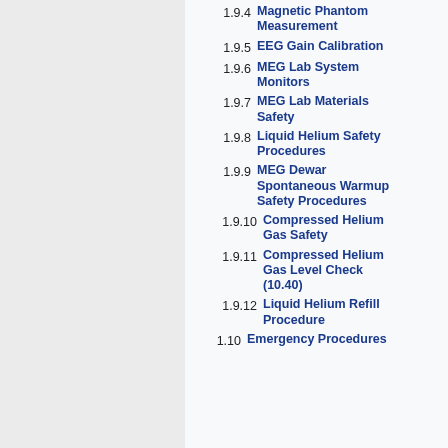1.9.4 Magnetic Phantom Measurement
1.9.5 EEG Gain Calibration
1.9.6 MEG Lab System Monitors
1.9.7 MEG Lab Materials Safety
1.9.8 Liquid Helium Safety Procedures
1.9.9 MEG Dewar Spontaneous Warmup Safety Procedures
1.9.10 Compressed Helium Gas Safety
1.9.11 Compressed Helium Gas Level Check (10.40)
1.9.12 Liquid Helium Refill Procedure
1.10 Emergency Procedures